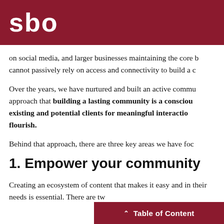sbo
on social media, and larger businesses maintaining the core b cannot passively rely on access and connectivity to build a c
Over the years, we have nurtured and built an active commu approach that building a lasting community is a consciou existing and potential clients for meaningful interactio flourish.
Behind that approach, there are three key areas we have foc
1. Empower your community
Creating an ecosystem of content that makes it easy and in their needs is essential. There are tw
^ Table of Content